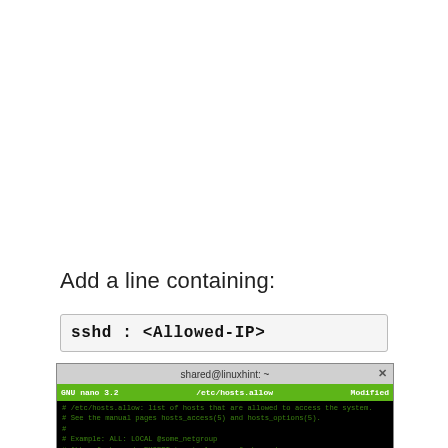Add a line containing:
sshd : <Allowed-IP>
[Figure (screenshot): Terminal window showing GNU nano 3.2 editing /etc/hosts.allow file with the line 'sshd : 192.168.1.14' added at the bottom. The terminal title bar shows 'shared@linuxhint: ~'. The file content shows comments about hosts.allow, examples with LOCAL and @some_netgroup, and the added sshd line.]